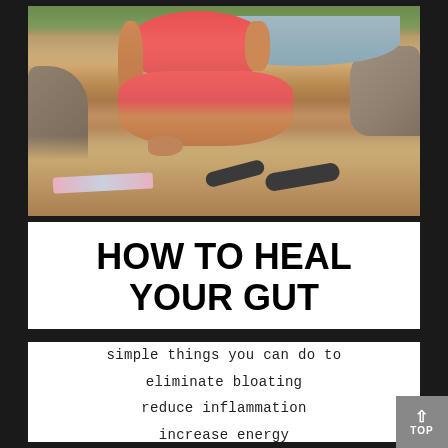[Figure (photo): A person in a coral/pink bikini crouching or doing yoga near rocks by water, outdoors in sunny conditions, with a striped mat visible on the ground.]
HOW TO HEAL YOUR GUT
simple things you can do to eliminate bloating reduce inflammation increase energy minimize cravings